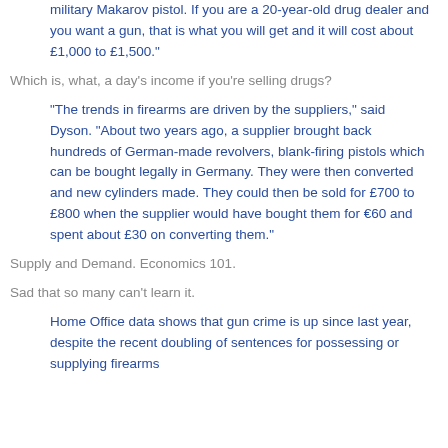military Makarov pistol. If you are a 20-year-old drug dealer and you want a gun, that is what you will get and it will cost about £1,000 to £1,500."
Which is, what, a day's income if you're selling drugs?
"The trends in firearms are driven by the suppliers," said Dyson. "About two years ago, a supplier brought back hundreds of German-made revolvers, blank-firing pistols which can be bought legally in Germany. They were then converted and new cylinders made. They could then be sold for £700 to £800 when the supplier would have bought them for €60 and spent about £30 on converting them."
Supply and Demand. Economics 101.
Sad that so many can't learn it.
Home Office data shows that gun crime is up since last year, despite the recent doubling of sentences for possessing or supplying firearms